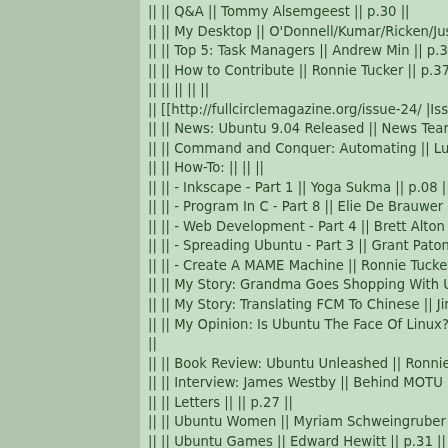|| || Q&A || Tommy Alsemgeest || p.30 ||
|| || My Desktop || O'Donnell/Kumar/Ricken/Justin || p.31 ||
|| || Top 5: Task Managers || Andrew Min || p.35 ||
|| || How to Contribute || Ronnie Tucker || p.37 ||
|| || || || ||
|| [[http://fullcirclemagazine.org/issue-24/ |Issue 24]] || || ||
|| || News: Ubuntu 9.04 Released || News Team || p.04 ||
|| || Command and Conquer: Automating || Lucas Westerm...
|| || How-To: || || ||
|| || - Inkscape - Part 1 || Yoga Sukma || p.08 ||
|| || - Program In C - Part 8 || Elie De Brauwer || p.10 ||
|| || - Web Development - Part 4 || Brett Alton || p.15 ||
|| || - Spreading Ubuntu - Part 3 || Grant Paton-Simpson || p...
|| || - Create A MAME Machine || Ronnie Tucker || p.16 ||
|| || My Story: Grandma Goes Shopping With Ubuntu || Ala...
|| || My Story: Translating FCM To Chinese || JimHu || p.21 |...
|| || My Opinion: Is Ubuntu The Face Of Linux? || Massimilia...
||
|| || Book Review: Ubuntu Unleashed || Ronnie Tucker || p.2...
|| || Interview: James Westby || Behind MOTU || p.26 ||
|| || Letters || || p.27 ||
|| || Ubuntu Women || Myriam Schweingruber || p.29 ||
|| || Ubuntu Games || Edward Hewitt || p.31 ||